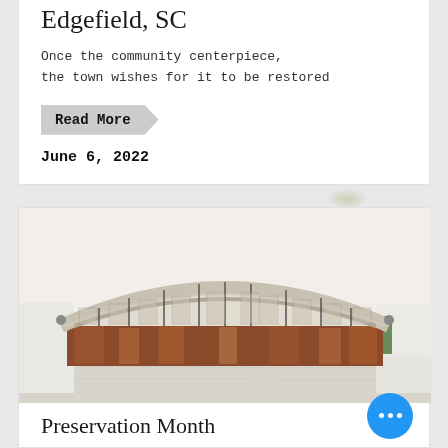Edgefield, SC
Once the community centerpiece, the town wishes for it to be restored
Read More
June 6, 2022
[Figure (photo): Photograph of a deteriorating historic building with arched metal roof structure, rusty metal walls and exposed framework, viewed from the front]
Preservation Month